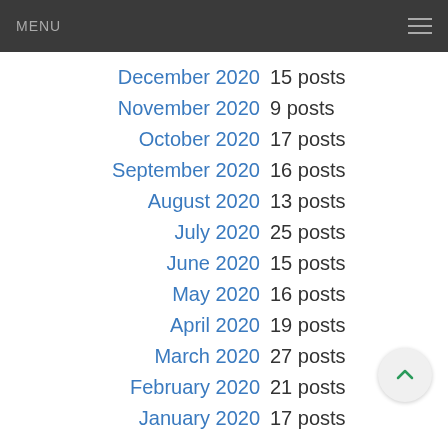MENU
December 2020  15 posts
November 2020  9 posts
October 2020  17 posts
September 2020  16 posts
August 2020  13 posts
July 2020  25 posts
June 2020  15 posts
May 2020  16 posts
April 2020  19 posts
March 2020  27 posts
February 2020  21 posts
January 2020  17 posts